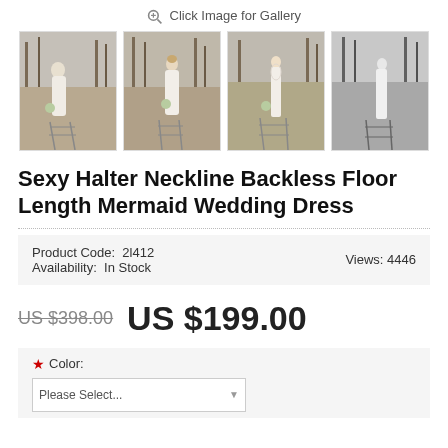Click Image for Gallery
[Figure (photo): Four thumbnail photos of a woman in a white mermaid wedding dress, posed outdoors near train tracks. The last photo is in black and white.]
Sexy Halter Neckline Backless Floor Length Mermaid Wedding Dress
Product Code: 2l412   Availability: In Stock   Views: 4446
US $398.00  US $199.00
* Color: Please Select...